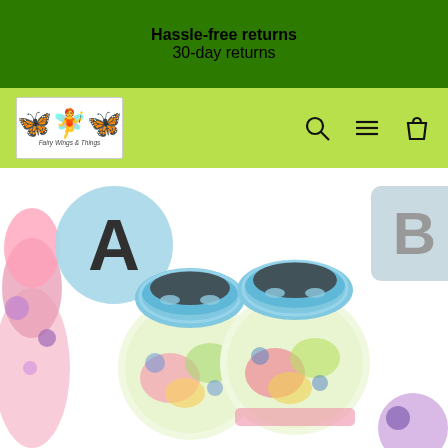Hassle-free returns
30-day returns
[Figure (logo): Fairy Wings and Things store logo with butterfly and fairy graphic]
[Figure (photo): Close-up photo of colorful tie-dye baby booties/slippers with blue fleece lining, shown with letter A and B alphabet blocks in background]